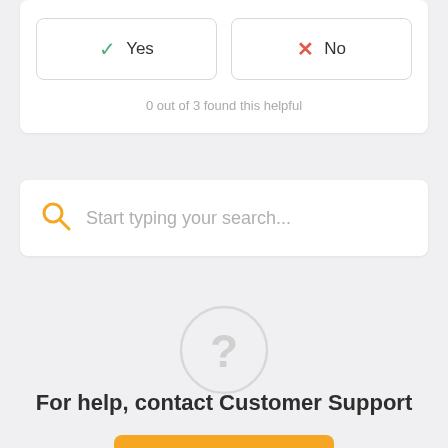✓ Yes
✗ No
0 out of 3 found this helpful
Start typing your search...
[Figure (illustration): Large question mark icon inside a light gray circle]
For help, contact Customer Support